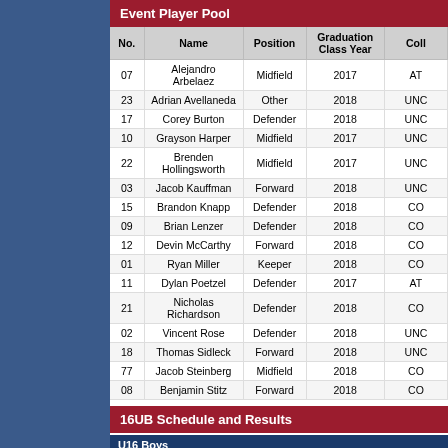Event Player Pool
| No. | Name | Position | Graduation Class Year | Coll |
| --- | --- | --- | --- | --- |
| 07 | Alejandro Arbelaez | Midfield | 2017 | AT |
| 23 | Adrian Avellaneda | Other | 2018 | UNC |
| 17 | Corey Burton | Defender | 2018 | UNC |
| 10 | Grayson Harper | Midfield | 2017 | UNC |
| 22 | Brenden Hollingsworth | Midfield | 2017 | UNC |
| 03 | Jacob Kauffman | Forward | 2018 | UNC |
| 15 | Brandon Knapp | Defender | 2018 | CO |
| 09 | Brian Lenzer | Defender | 2018 | CO |
| 12 | Devin McCarthy | Forward | 2018 | CO |
| 01 | Ryan Miller | Keeper | 2018 | CO |
| 11 | Dylan Poetzel | Defender | 2017 | AT |
| 21 | Nicholas Richardson | Defender | 2018 | CO |
| 02 | Vincent Rose | Defender | 2018 | UNC |
| 18 | Thomas Sidleck | Forward | 2018 | UNC |
| 77 | Jacob Steinberg | Midfield | 2018 | CO |
| 08 | Benjamin Stitz | Forward | 2018 | CO |
16UB Schedule and Results
U16 Boys
| Date | Time | Field | Home | S |
| --- | --- | --- | --- | --- |
| Thu Dec 10 | 12:00 PM | Gillette 3 | Sporting KC Academy (KS) | 3 |